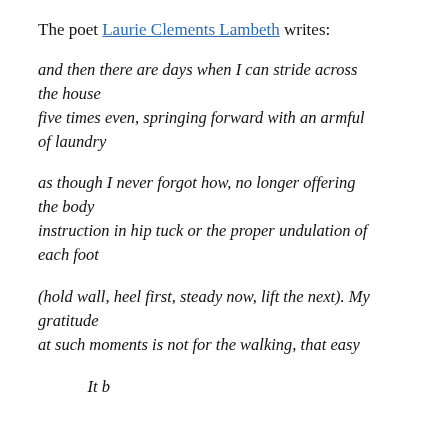The poet Laurie Clements Lambeth writes:
and then there are days when I can stride across the house
five times even, springing forward with an armful of laundry

as though I never forgot how, no longer offering the body
instruction in hip tuck or the proper undulation of each foot

(hold wall, heel first, steady now, lift the next). My gratitude
at such moments is not for the walking, that easy